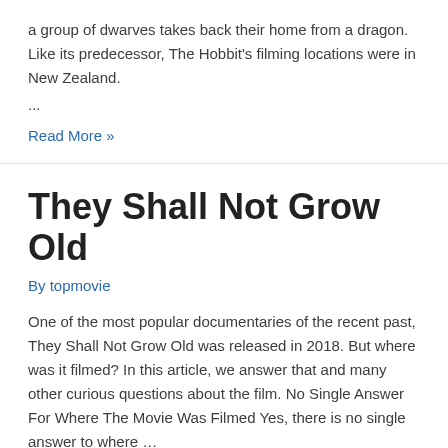a group of dwarves takes back their home from a dragon. Like its predecessor, The Hobbit's filming locations were in New Zealand.
...
Read More »
They Shall Not Grow Old
By topmovie
One of the most popular documentaries of the recent past, They Shall Not Grow Old was released in 2018. But where was it filmed? In this article, we answer that and many other curious questions about the film. No Single Answer For Where The Movie Was Filmed Yes, there is no single answer to where …